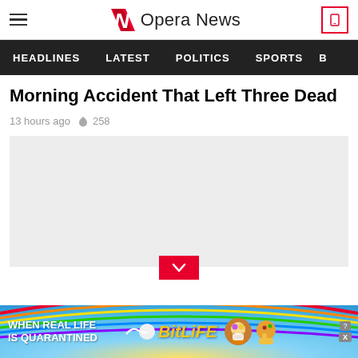Opera News
HEADLINES LATEST POLITICS SPORTS B
Morning Accident That Left Three Dead
13 hours ago  258
[Figure (photo): Light grey placeholder image for article]
[Figure (infographic): BitLife advertisement banner: WHEN REAL LIFE IS QUARANTINED — BitLife]